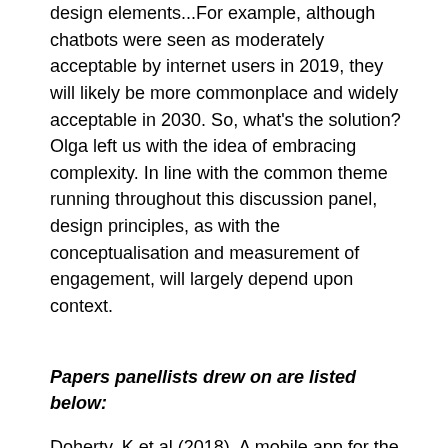design elements...For example, although chatbots were seen as moderately acceptable by internet users in 2019, they will likely be more commonplace and widely acceptable in 2030. So, what's the solution? Olga left us with the idea of embracing complexity. In line with the common theme running throughout this discussion panel, design principles, as with the conceptualisation and measurement of engagement, will largely depend upon context.
Papers panellists drew on are listed below:
Doherty, K et al (2018). A mobile app for the self-report of psychological well-being during pregnancy (BrightSelf): qualitative design study. JMIR mental health, 5(4)
Doherty, K., & Doherty, G. (2018). Engagement in HCI: